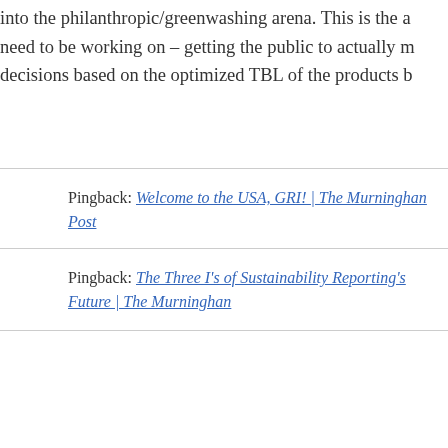into the philanthropic/greenwashing arena. This is the a need to be working on – getting the public to actually m decisions based on the optimized TBL of the products b
Pingback: Welcome to the USA, GRI! | The Murninghan Post
Pingback: The Three I's of Sustainability Reporting's Future | The Murninghan